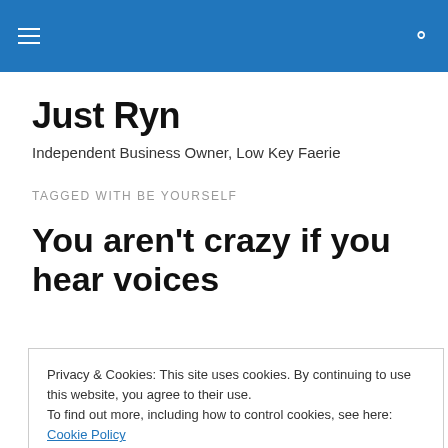Just Ryn [hamburger menu icon] [search icon]
Just Ryn
Independent Business Owner, Low Key Faerie
TAGGED WITH BE YOURSELF
You aren't crazy if you hear voices
Privacy & Cookies: This site uses cookies. By continuing to use this website, you agree to their use.
To find out more, including how to control cookies, see here: Cookie Policy
Close and accept
But then they'll joke "But if they talk back, that's when you